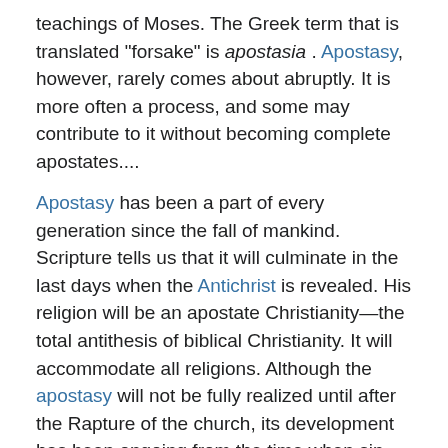teachings of Moses. The Greek term that is translated "forsake" is apostasia. Apostasy, however, rarely comes about abruptly. It is more often a process, and some may contribute to it without becoming complete apostates....
Apostasy has been a part of every generation since the fall of mankind. Scripture tells us that it will culminate in the last days when the Antichrist is revealed. His religion will be an apostate Christianity—the total antithesis of biblical Christianity. It will accommodate all religions. Although the apostasy will not be fully realized until after the Rapture of the church, its development has been ongoing from the time when sin entered the human race. —T. A. McMahon, article "Apostasy and Its Antidote," TBC February 2011
Key Scripture verses related to "Apostasy"
Matthew:24:4-5; Mat:4:11; Mat:4:24
2 Thessalonians:2:3-4